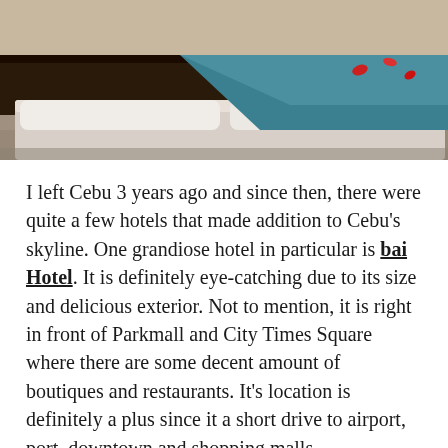[Figure (photo): Hotel room photo showing a bed with teal/turquoise blanket and dark wooden headboard, taken from angle near the foot of the bed]
I left Cebu 3 years ago and since then, there were quite a few hotels that made addition to Cebu's skyline. One grandiose hotel in particular is bai Hotel. It is definitely eye-catching due to its size and delicious exterior. Not to mention, it is right in front of Parkmall and City Times Square where there are some decent amount of boutiques and restaurants. It's location is definitely a plus since it a short drive to airport, port, downtown and shopping malls.
Cebu holds a special in my heart. It is where I acquired my tertiary education and my 9-5 job before I 'left the nest' and became a digital nomad. Here, I made a lot of